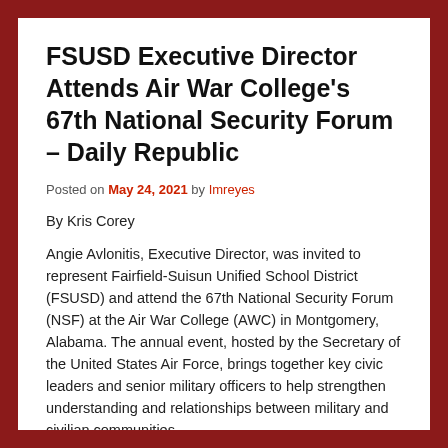FSUSD Executive Director Attends Air War College's 67th National Security Forum – Daily Republic
Posted on May 24, 2021 by Imreyes
By Kris Corey
Angie Avlonitis, Executive Director, was invited to represent Fairfield-Suisun Unified School District (FSUSD) and attend the 67th National Security Forum (NSF) at the Air War College (AWC) in Montgomery, Alabama. The annual event, hosted by the Secretary of the United States Air Force, brings together key civic leaders and senior military officers to help strengthen understanding and relationships between military and civilian communities.
The City of Fairfield is home to Travis Air Force Base, and Ms.